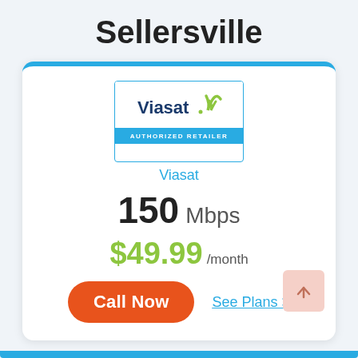Sellersville
[Figure (logo): Viasat Authorized Retailer logo — dark blue 'Viasat' wordmark with a green stylized signal-wave icon, on a white background with a blue 'AUTHORIZED RETAILER' banner at the bottom]
Viasat
150 Mbps
$49.99 /month
Call Now
See Plans >